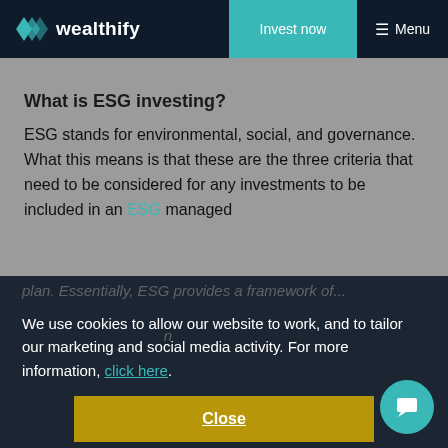wealthify — Invest now | Menu
What is ESG investing?
ESG stands for environmental, social, and governance. What this means is that these are the three criteria that need to be considered for any investments to be included in an ESG managed plan. Essentially, ESG provides a framework of...
We use cookies to allow our website to work, and to tailor our marketing and social media activity. For more information, click here.
Close
To break ES... each... aspect to provide the bigger picture...